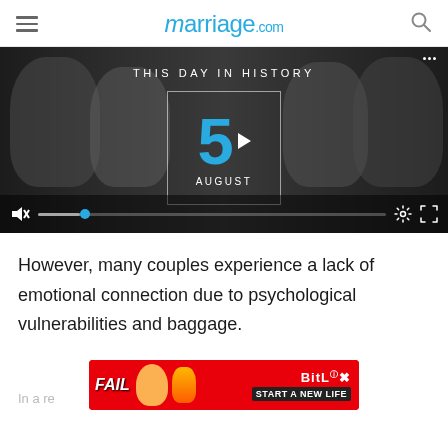marriage.com
[Figure (screenshot): Video player thumbnail showing 'This Day In History' with the date 5 August displayed in a box with a play button, overlaid on black-and-white photos of historical figures. Video controls visible at bottom.]
However, many couples experience a lack of emotional connection due to psychological vulnerabilities and baggage.
[Figure (photo): Advertisement banner for BitLife game: 'FAIL' text, cartoon character, fire graphic, BitLife logo, 'START A NEW LIFE' text on red background]
In a re